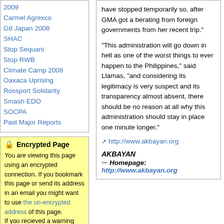2009
Carmel Agrexco
G8 Japan 2008
SHAC
Stop Sequani
Stop RWB
Climate Camp 2008
Oaxaca Uprising
Rossport Solidarity
Smash EDO
SOCPA
Past Major Reports
🔒 Encrypted Page
You are viewing this page using an encrypted connection. If you bookmark this page or send its address in an email you might want to use the un-encrypted address of this page. If you recieved a warning
have stopped temporarily so, after GMA got a berating from foreign governments from her recent trip."
"This administration will go down in hell as one of the worst things to ever happen to the Philippines," said Llamas, "and considering its legitimacy is very suspect and its transparency almost absent, there should be no reason at all why this administration should stay in place one minute longer."
http://www.akbayan.org
AKBAYAN
Homepage:
http://www.akbayan.org